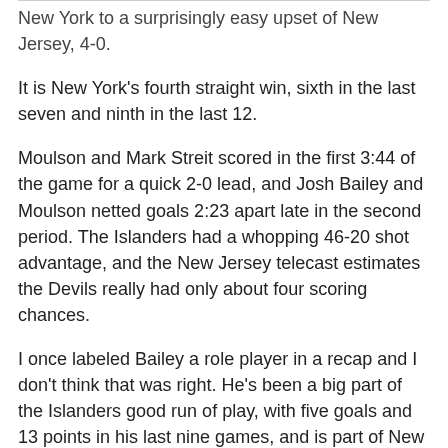New York to a surprisingly easy upset of New Jersey, 4-0.
It is New York's fourth straight win, sixth in the last seven and ninth in the last 12.
Moulson and Mark Streit scored in the first 3:44 of the game for a quick 2-0 lead, and Josh Bailey and Moulson netted goals 2:23 apart late in the second period. The Islanders had a whopping 46-20 shot advantage, and the New Jersey telecast estimates the Devils really had only about four scoring chances.
I once labeled Bailey a role player in a recap and I don't think that was right. He's been a big part of the Islanders good run of play, with five goals and 13 points in his last nine games, and is part of New York's future.
The Devils, meanwhile, have lost three straight games and four of their last six, all in regulation. Martin Brodeur was pulled after two periods. He made 28 saves and was replaced by Yann Danis.
DiPietro failed to get an assist again though. Come on...